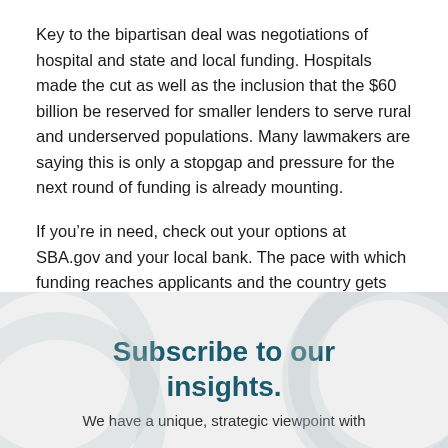Key to the bipartisan deal was negotiations of hospital and state and local funding. Hospitals made the cut as well as the inclusion that the $60 billion be reserved for smaller lenders to serve rural and underserved populations. Many lawmakers are saying this is only a stopgap and pressure for the next round of funding is already mounting.
If you’re in need, check out your options at SBA.gov and your local bank. The pace with which funding reaches applicants and the country gets back to work will be critical in keeping our economy going.
Subscribe to our insights.
We have a unique, strategic viewpoint with